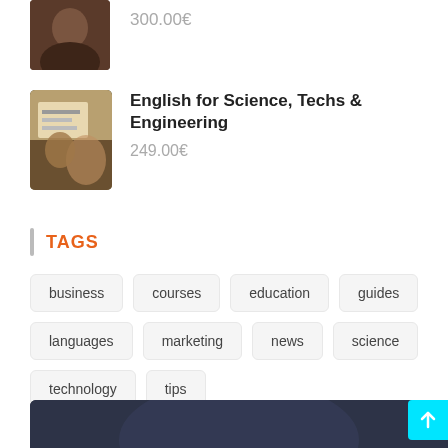[Figure (photo): Thumbnail image of a person (dark tones), partially visible at top]
300.00€
[Figure (photo): Thumbnail image of person studying/writing]
English for Science, Techs & Engineering
249.00€
TAGS
business
courses
education
guides
languages
marketing
news
science
technology
tips
[Figure (photo): Dark footer banner image]